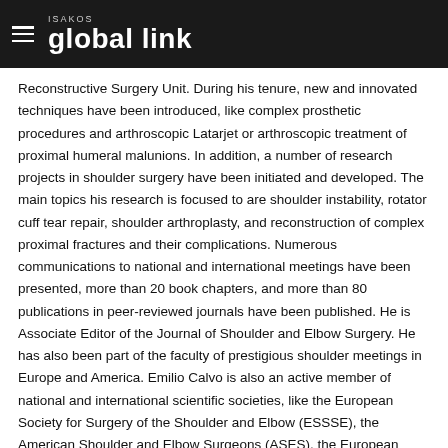ISAKOS global link
Reconstructive Surgery Unit. During his tenure, new and innovated techniques have been introduced, like complex prosthetic procedures and arthroscopic Latarjet or arthroscopic treatment of proximal humeral malunions. In addition, a number of research projects in shoulder surgery have been initiated and developed. The main topics his research is focused to are shoulder instability, rotator cuff tear repair, shoulder arthroplasty, and reconstruction of complex proximal fractures and their complications. Numerous communications to national and international meetings have been presented, more than 20 book chapters, and more than 80 publications in peer-reviewed journals have been published. He is Associate Editor of the Journal of Shoulder and Elbow Surgery. He has also been part of the faculty of prestigious shoulder meetings in Europe and America. Emilio Calvo is also an active member of national and international scientific societies, like the European Society for Surgery of the Shoulder and Elbow (ESSSE), the American Shoulder and Elbow Surgeons (ASES), the European Society for Sports, Knee and Arthroscopy (ESSKA), and the International Society of Arthroscopy, Knee Surgery and Orthopaedic Sports Medicine (ISAKOS). He has now President by appointment of the European